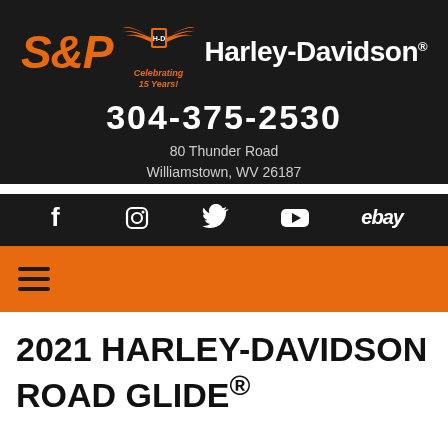[Figure (logo): S&P Harley-Davidson dealership logo with wings, shield badge, and 'Celebrating 15 Years!' text on dark background]
304-375-2530
80 Thunder Road
Williamstown, WV 26187
[Figure (other): Social media icons row: Facebook, Instagram, Twitter, YouTube, eBay on dark background]
[Figure (other): Orange navigation bar with hamburger menu icon]
2021 HARLEY-DAVIDSON ROAD GLIDE®